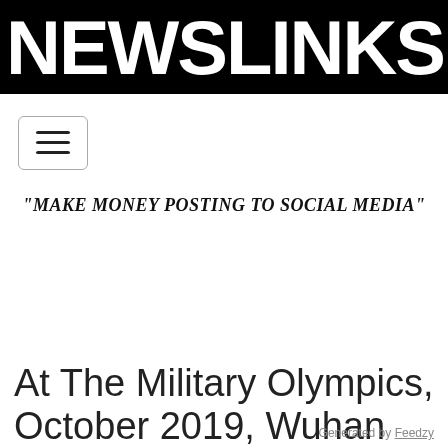NEWSLINKS.NET
[Figure (other): Hamburger menu button with three horizontal lines inside a rounded rectangle border]
"MAKE MONEY POSTING TO SOCIAL MEDIA"
At The Military Olympics, October 2019, Wuhan